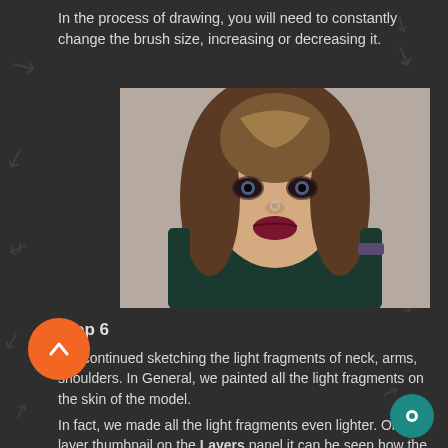In the process of drawing, you will need to constantly change the brush size, increasing or decreasing it.
[Figure (photo): Portrait photo of a young woman with long brown hair, wearing dark clothes, looking into the camera with dramatic makeup.]
Step 6
We continued sketching the light fragments of neck, arms, shoulders. In General, we painted all the light fragments on the skin of the model.
In fact, we made all the light fragments even lighter. On the layer thumbnail on the Layers panel it can be seen how the darkened and lightened fragments are shown on a grey background. At this stage, you feel that we are overly darkened and highlighted the fragments of photos, and indeed it was so. But don't